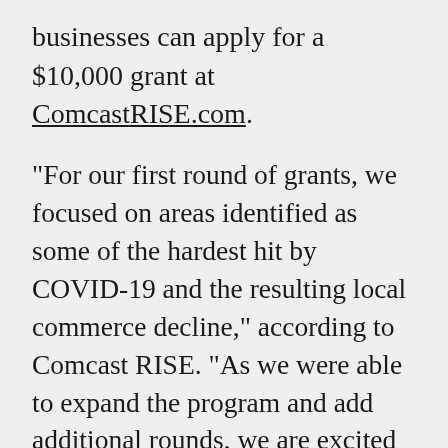businesses can apply for a $10,000 grant at ComcastRISE.com.
"For our first round of grants, we focused on areas identified as some of the hardest hit by COVID-19 and the resulting local commerce decline," according to Comcast RISE. "As we were able to expand the program and add additional rounds, we are excited to provide grant support through the Comcast RISE Investment Fund to additional metro areas with large numbers of small businesses owned by people of color."
Comcast RISE is initially focusing on people of